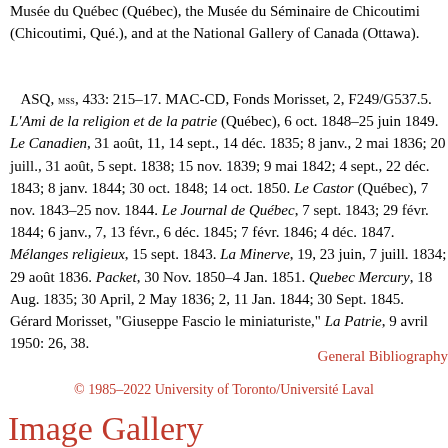Musée du Québec (Québec), the Musée du Séminaire de Chicoutimi (Chicoutimi, Qué.), and at the National Gallery of Canada (Ottawa).
ASQ, MSS, 433: 215–17. MAC-CD, Fonds Morisset, 2, F249/G537.5. L'Ami de la religion et de la patrie (Québec), 6 oct. 1848–25 juin 1849. Le Canadien, 31 août, 11, 14 sept., 14 déc. 1835; 8 janv., 2 mai 1836; 20 juill., 31 août, 5 sept. 1838; 15 nov. 1839; 9 mai 1842; 4 sept., 22 déc. 1843; 8 janv. 1844; 30 oct. 1848; 14 oct. 1850. Le Castor (Québec), 7 nov. 1843–25 nov. 1844. Le Journal de Québec, 7 sept. 1843; 29 févr. 1844; 6 janv., 7, 13 févr., 6 déc. 1845; 7 févr. 1846; 4 déc. 1847. Mélanges religieux, 15 sept. 1843. La Minerve, 19, 23 juin, 7 juill. 1834; 29 août 1836. Packet, 30 Nov. 1850–4 Jan. 1851. Quebec Mercury, 18 Aug. 1835; 30 April, 2 May 1836; 2, 11 Jan. 1844; 30 Sept. 1845. Gérard Morisset, "Giuseppe Fascio le miniaturiste," La Patrie, 9 avril 1950: 26, 38.
General Bibliography
© 1985–2022 University of Toronto/Université Laval
Image Gallery